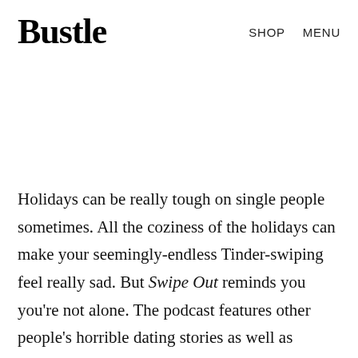Bustle   SHOP   MENU
Holidays can be really tough on single people sometimes. All the coziness of the holidays can make your seemingly-endless Tinder-swiping feel really sad. But Swipe Out reminds you you're not alone. The podcast features other people's horrible dating stories as well as interviews with couples. Plus, the holidays are just as good a time as any for a good laugh.